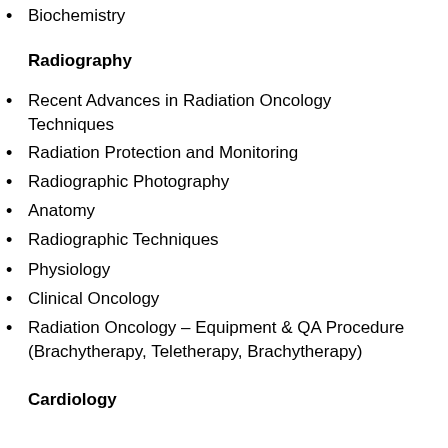Biochemistry
Radiography
Recent Advances in Radiation Oncology Techniques
Radiation Protection and Monitoring
Radiographic Photography
Anatomy
Radiographic Techniques
Physiology
Clinical Oncology
Radiation Oncology – Equipment & QA Procedure (Brachytherapy, Teletherapy, Brachytherapy)
Cardiology